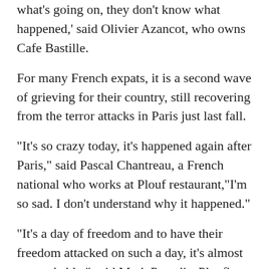what's going on, they don't know what happened,' said Olivier Azancot, who owns Cafe Bastille.
For many French expats, it is a second wave of grieving for their country, still recovering from the terror attacks in Paris just last fall.
"It's so crazy today, it's happened again after Paris," said Pascal Chantreau, a French national who works at Plouf restaurant,"I'm so sad. I don't understand why it happened."
"It's a day of freedom and to have their freedom attacked on such a day, it's almost unspeakable," said Mark Papedis, Plouf's Executive Chef, "All of our thoughts and prayers are going out to the people in France right now."